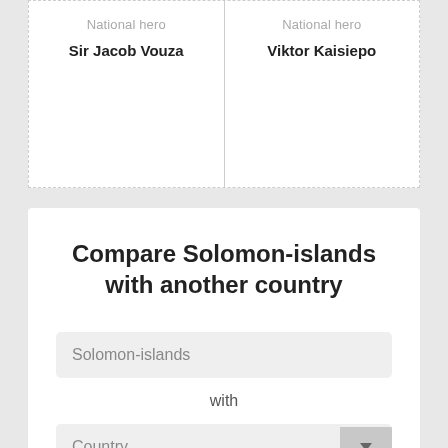National hero
Sir Jacob Vouza
National hero
Viktor Kaisiepo
Compare Solomon-islands with another country
Solomon-islands
with
Country
Pages